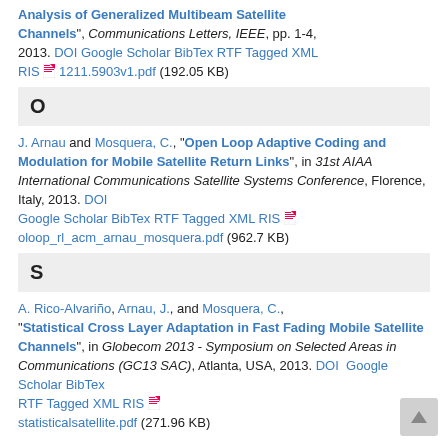Analysis of Generalized Multibeam Satellite Channels", Communications Letters, IEEE, pp. 1-4, 2013. DOI Google Scholar BibTex RTF Tagged XML RIS 1211.5903v1.pdf (192.05 KB)
O
J. Arnau and Mosquera, C., "Open Loop Adaptive Coding and Modulation for Mobile Satellite Return Links", in 31st AIAA International Communications Satellite Systems Conference, Florence, Italy, 2013. DOI Google Scholar BibTex RTF Tagged XML RIS oloop_rl_acm_arnau_mosquera.pdf (962.7 KB)
S
A. Rico-Alvariño, Arnau, J., and Mosquera, C., "Statistical Cross Layer Adaptation in Fast Fading Mobile Satellite Channels", in Globecom 2013 - Symposium on Selected Areas in Communications (GC13 SAC), Atlanta, USA, 2013. DOI Google Scholar BibTex RTF Tagged XML RIS statisticalsatellite.pdf (271.96 KB)